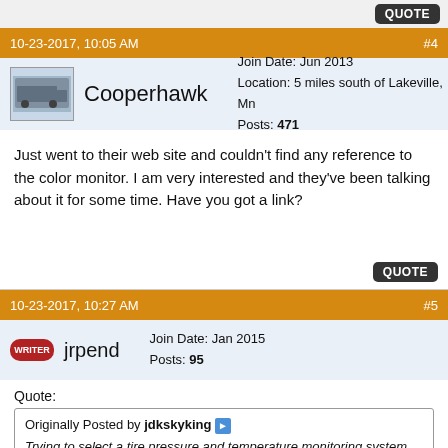QUOTE (button)
10-23-2017, 10:05 AM  #4
Cooperhawk  Join Date: Jun 2013  Location: 5 miles south of Lakeville, Mn  Posts: 471
Just went to their web site and couldn't find any reference to the color monitor. I am very interested and they've been talking about it for some time. Have you got a link?
10-23-2017, 10:27 AM  #5
jrpend  Join Date: Jan 2015  Posts: 95
Quote: Originally Posted by jdkskyking  Trying to select a tire pressure and temperature monitoring system. Any advice is appreciated. Considering: TST-507